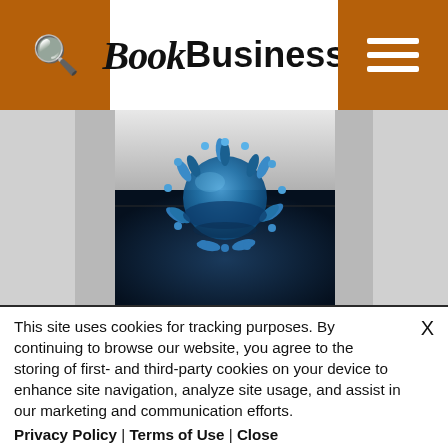BookBusiness
[Figure (photo): Close-up image of a blue coronavirus particle / virus cell against a dark blue background, shown on a magazine or article page of BookBusiness website]
This site uses cookies for tracking purposes. By continuing to browse our website, you agree to the storing of first- and third-party cookies on your device to enhance site navigation, analyze site usage, and assist in our marketing and communication efforts.
Privacy Policy | Terms of Use | Close